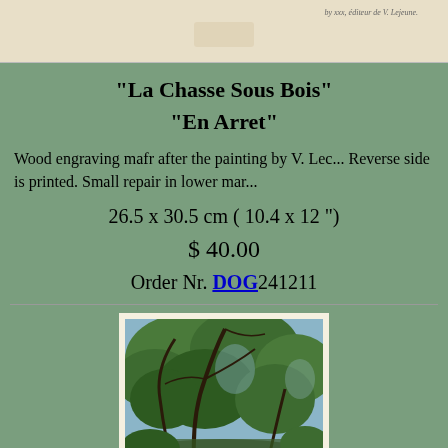[Figure (photo): Top strip showing partial view of an antique print or engraving page with small text]
"La Chasse Sous Bois"
"En Arret"
Wood engraving mafr after the painting by V. Lec... Reverse side is printed. Small repair in lower mar...
26.5 x 30.5 cm ( 10.4 x 12 ")
$ 40.00
Order Nr. DOG241211
[Figure (photo): Artwork image showing a wood engraving of a forest scene with trees, foliage, and sky visible through the branches]